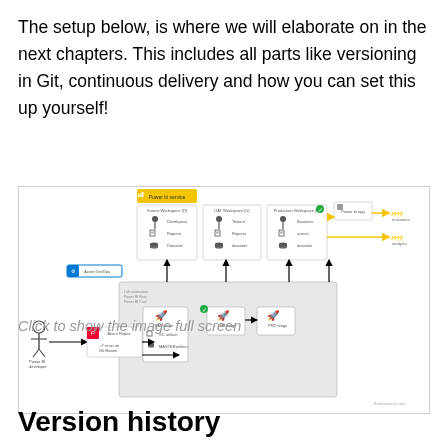The setup below, is where we will elaborate on in the next chapters. This includes all parts like versioning in Git, continuous delivery and how you can set this up yourself!
[Figure (flowchart): A flowchart diagram showing a CI/CD pipeline setup with stages including Power BI service, Source Workspace (D), and various deployment stages (FAT, UAT, PRD) with icons for developers, reports, datasets, databases, and end-users.]
Click to show the image full screen
Version history